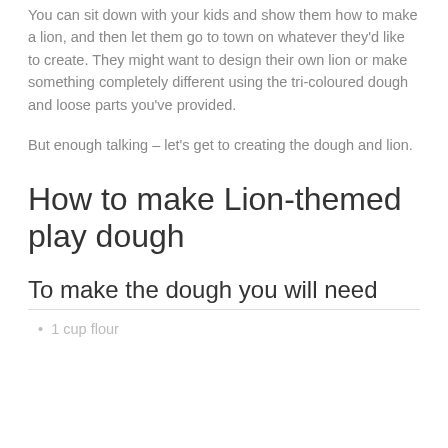You can sit down with your kids and show them how to make a lion, and then let them go to town on whatever they'd like to create. They might want to design their own lion or make something completely different using the tri-coloured dough and loose parts you've provided.
But enough talking – let's get to creating the dough and lion.
How to make Lion-themed play dough
To make the dough you will need
1 cup flour